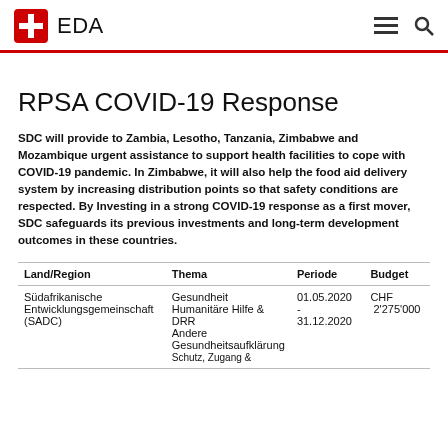EDA
RPSA COVID-19 Response
SDC will provide to Zambia, Lesotho, Tanzania, Zimbabwe and Mozambique urgent assistance to support health facilities to cope with COVID-19 pandemic. In Zimbabwe, it will also help the food aid delivery system by increasing distribution points so that safety conditions are respected. By Investing in a strong COVID-19 response as a first mover, SDC safeguards its previous investments and long-term development outcomes in these countries.
| Land/Region | Thema | Periode | Budget |
| --- | --- | --- | --- |
| Südafrikanische Entwicklungsgemeinschaft (SADC) | Gesundheit
Humanitäre Hilfe & DRR
Andere Gesundheitsaufklärung
Schutz, Zugang & | 01.05.2020 - 31.12.2020 | CHF 2'275'000 |